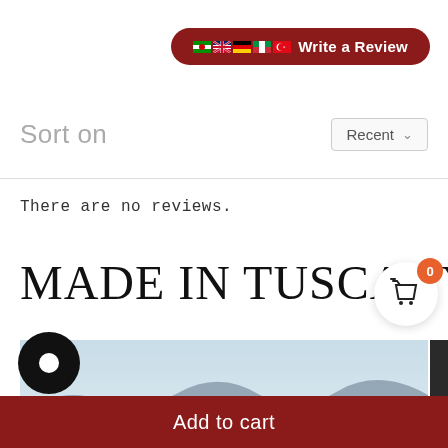[Figure (screenshot): Write a Review button with country flags (green/white, UK, German, Italian, Turkish) on dark red rounded pill background]
Sort on
Recent ∨
There are no reviews.
MADE IN TUSCANY LEATH…
[Figure (illustration): Shopping cart icon with orange badge showing 0]
[Figure (photo): Landscape photo showing desert hills under pale blue sky]
[Figure (illustration): Black circle chat bubble icon]
Add to cart